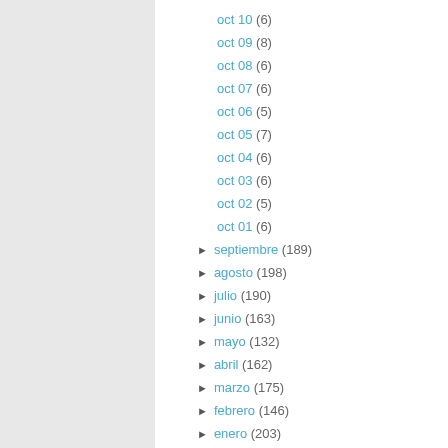oct 10 (6)
oct 09 (8)
oct 08 (6)
oct 07 (6)
oct 06 (5)
oct 05 (7)
oct 04 (6)
oct 03 (6)
oct 02 (5)
oct 01 (6)
► septiembre (189)
► agosto (198)
► julio (190)
► junio (163)
► mayo (132)
► abril (162)
► marzo (175)
► febrero (146)
► enero (203)
► 2010 (2429)